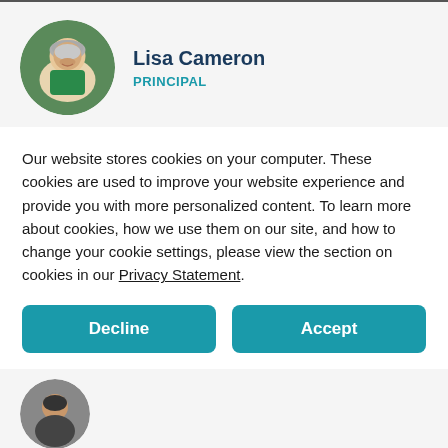[Figure (photo): Circular profile photo of Lisa Cameron, a woman with short gray hair wearing a green top, smiling outdoors with green background.]
Lisa Cameron
PRINCIPAL
Our website stores cookies on your computer. These cookies are used to improve your website experience and provide you with more personalized content. To learn more about cookies, how we use them on our site, and how to change your cookie settings, please view the section on cookies in our Privacy Statement.
Decline
Accept
[Figure (photo): Partial circular profile photo of a second person, partially visible at the bottom of the page.]